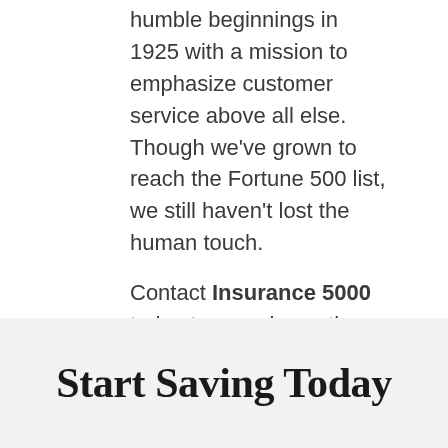humble beginnings in 1925 with a mission to emphasize customer service above all else. Though we've grown to reach the Fortune 500 list, we still haven't lost the human touch.
Contact Insurance 5000 today to experience the ERIE difference for yourself.
FILED UNDER: CAR SENSE
Start Saving Today